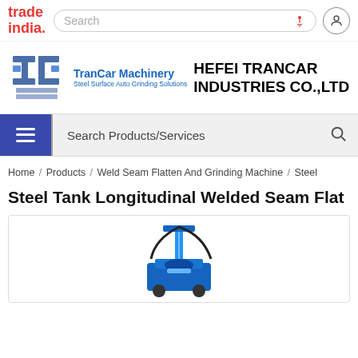[Figure (logo): TradeIndia logo with search bar and user icon navigation header]
[Figure (logo): TranCar Machinery logo with blue stylized letters T and C]
HEFEI TRANCAR INDUSTRIES CO.,LTD
[Figure (other): Navigation bar with hamburger menu button and Search Products/Services search field]
Home / Products / Weld Seam Flatten And Grinding Machine / Steel
Steel Tank Longitudinal Welded Seam Flat
[Figure (photo): Product photo of Steel Tank Longitudinal Welded Seam Flattening machine, blue industrial grinding equipment]